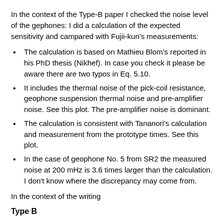In the context of the Type-B paper I checked the noise level of the gephones: I did a calculation of the expected sensitivity and campared with Fujii-kun's measurements:
The calculation is based on Mathieu Blom's reported in his PhD thesis (Nikhef). In case you check it please be aware there are two typos in Eq. 5.10.
It includes the thermal noise of the pick-coil resistance, geophone suspension thermal noise and pre-amplifier noise. See this plot. The pre-amplifier noise is dominant.
The calculation is consistent with Tananori's calculation and measurement from the prototype times. See this plot.
In the case of geophone No. 5 from SR2 the measured noise at 200 mHz is 3.6 times larger than the calculation. I don't know where the discrepancy may come from.
In the context of the writing
Type B